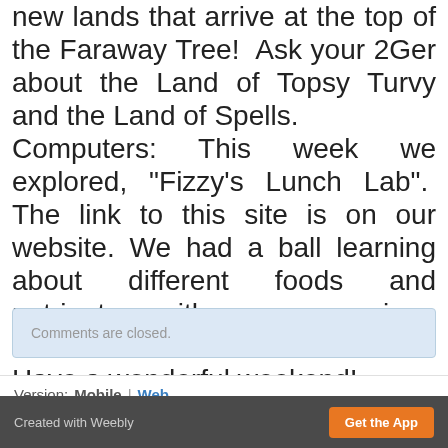new lands that arrive at the top of the Faraway Tree!  Ask your 2Ger about the Land of Topsy Turvy and the Land of Spells. Computers: This week we explored, "Fizzy's Lunch Lab".  The link to this site is on our website. We had a ball learning about different foods and nutrients with many unique characters. Have a wonderful weekend!
Comments are closed.
Version:  Mobile | Web
Created with Weebly   Get the App